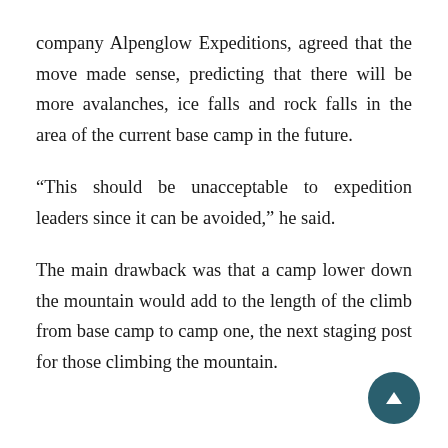company Alpenglow Expeditions, agreed that the move made sense, predicting that there will be more avalanches, ice falls and rock falls in the area of the current base camp in the future.
“This should be unacceptable to expedition leaders since it can be avoided,” he said.
The main drawback was that a camp lower down the mountain would add to the length of the climb from base camp to camp one, the next staging post for those climbing the mountain.